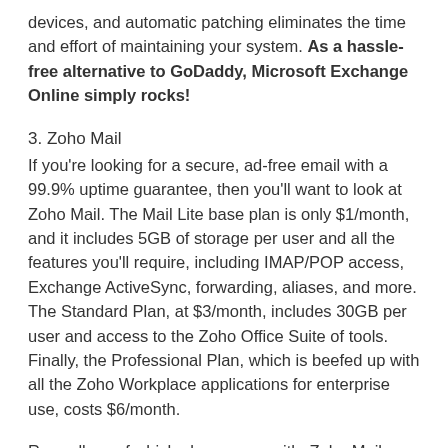devices, and automatic patching eliminates the time and effort of maintaining your system. As a hassle-free alternative to GoDaddy, Microsoft Exchange Online simply rocks!
3. Zoho Mail
If you're looking for a secure, ad-free email with a 99.9% uptime guarantee, then you'll want to look at Zoho Mail. The Mail Lite base plan is only $1/month, and it includes 5GB of storage per user and all the features you'll require, including IMAP/POP access, Exchange ActiveSync, forwarding, aliases, and more. The Standard Plan, at $3/month, includes 30GB per user and access to the Zoho Office Suite of tools. Finally, the Professional Plan, which is beefed up with all the Zoho Workplace applications for enterprise use, costs $6/month.
Regardless of which plan you go with, Zoho Mail always rewards you with a secure, ad-free inbox with 99.9% uptime guaranteed, powerful control panel that allows you to easily set